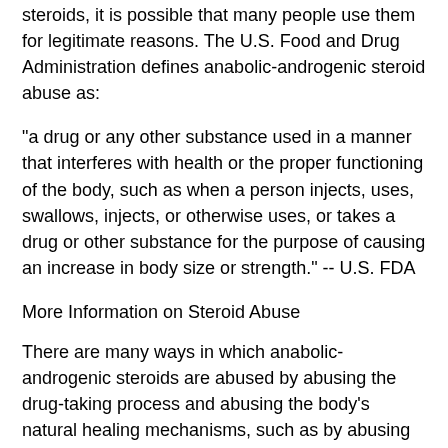steroids, it is possible that many people use them for legitimate reasons. The U.S. Food and Drug Administration defines anabolic-androgenic steroid abuse as:
"a drug or any other substance used in a manner that interferes with health or the proper functioning of the body, such as when a person injects, uses, swallows, injects, or otherwise uses, or takes a drug or other substance for the purpose of causing an increase in body size or strength." -- U.S. FDA
More Information on Steroid Abuse
There are many ways in which anabolic-androgenic steroids are abused by abusing the drug-taking process and abusing the body's natural healing mechanisms, such as by abusing the immune system by ingesting substances known as phallostachios.